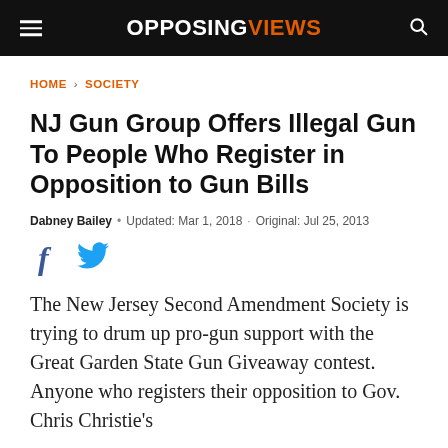OPPOSING VIEWS
HOME › SOCIETY
NJ Gun Group Offers Illegal Gun To People Who Register in Opposition to Gun Bills
Dabney Bailey • Updated: Mar 1, 2018 · Original: Jul 25, 2013
[Figure (other): Facebook and Twitter social share icons]
The New Jersey Second Amendment Society is trying to drum up pro-gun support with the Great Garden State Gun Giveaway contest. Anyone who registers their opposition to Gov. Chris Christie's